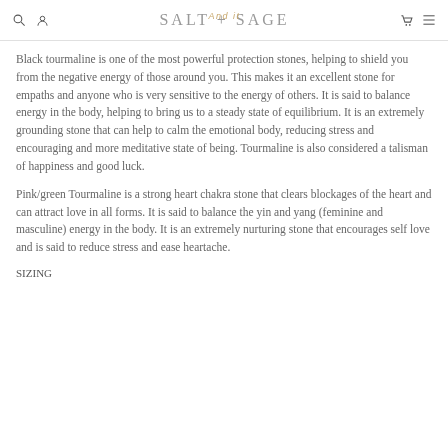SALT + SAGE
Black tourmaline is one of the most powerful protection stones, helping to shield you from the negative energy of those around you. This makes it an excellent stone for empaths and anyone who is very sensitive to the energy of others. It is said to balance energy in the body, helping to bring us to a steady state of equilibrium. It is an extremely grounding stone that can help to calm the emotional body, reducing stress and encouraging and more meditative state of being. Tourmaline is also considered a talisman of happiness and good luck.
Pink/green Tourmaline is a strong heart chakra stone that clears blockages of the heart and can attract love in all forms. It is said to balance the yin and yang (feminine and masculine) energy in the body. It is an extremely nurturing stone that encourages self love and is said to reduce stress and ease heartache.
SIZING